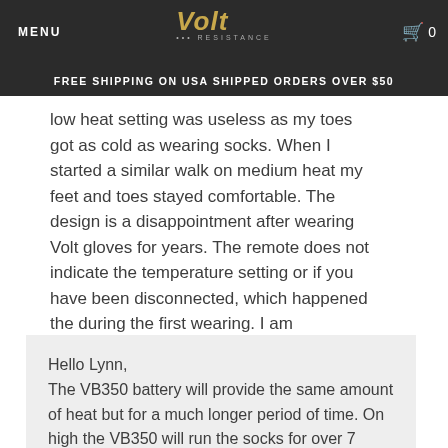MENU | Volt Resistance | 0
FREE SHIPPING ON USA SHIPPED ORDERS OVER $50
low heat setting was useless as my toes got as cold as wearing socks. When I started a similar walk on medium heat my feet and toes stayed comfortable. The design is a disappointment after wearing Volt gloves for years. The remote does not indicate the temperature setting or if you have been disconnected, which happened the during the first wearing. I am wondering if purchasing the VB50 battery would provide more warmth.
Hello Lynn,
The VB350 battery will provide the same amount of heat but for a much longer period of time. On high the VB350 will run the socks for over 7 hours. Stay Warm!